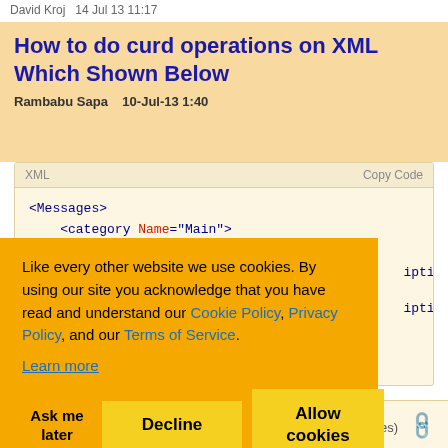David Kroj   14 Jul 13 11:17
How to do curd operations on XML Which Shown Below
Rambabu Sapa   10-Jul-13 1:40
[Figure (screenshot): XML code snippet showing <Messages> and <category Name="Main"> tags with partial code visible]
Like every other website we use cookies. By using our site you acknowledge that you have read and understand our Cookie Policy, Privacy Policy, and our Terms of Service. Learn more
Ask me later   Decline   Allow cookies
5 (2 votes)